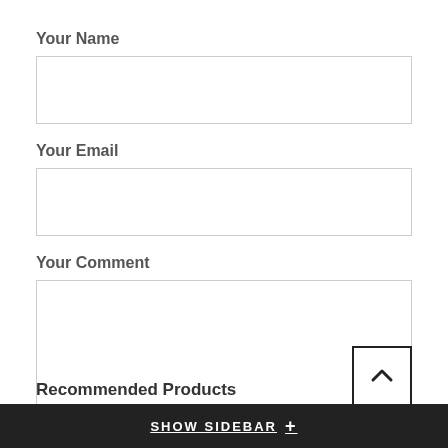Your Name
[input field]
Your Email
[input field]
Your Comment
[textarea field]
All blog comments are checked prior to publishing
POST COMMENT
Recommended Products
SHOW SIDEBAR +